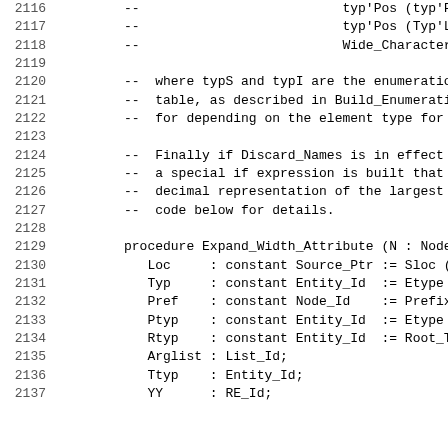Source code listing lines 2116-2137 showing Ada procedure Expand_Width_Attribute with comments about typ'Pos, Wide_Character_Encoding, enumeration table, Discard_Names, and variable declarations.